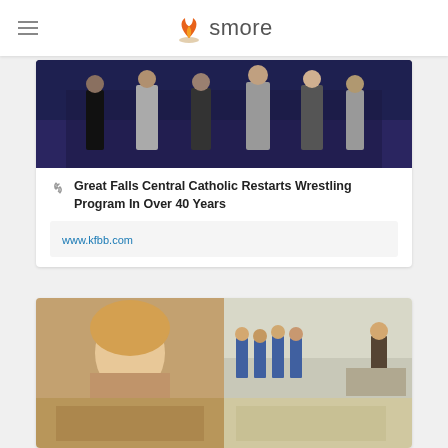smore
[Figure (photo): People standing in a gym, wrestling practice scene with blue wall background]
Great Falls Central Catholic Restarts Wrestling Program In Over 40 Years
www.kfbb.com
[Figure (photo): Grid of classroom/education photos showing a blonde woman, students in blue uniforms in a classroom, and another scene]